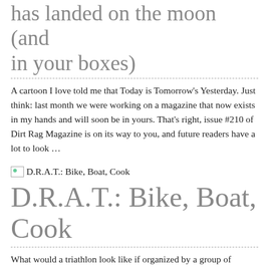has landed on the moon (and in your boxes)
A cartoon I love told me that Today is Tomorrow's Yesterday. Just think: last month we were working on a magazine that now exists in my hands and will soon be in yours. That's right, issue #210 of Dirt Rag Magazine is on its way to you, and future readers have a lot to look …
[Figure (illustration): Small broken image placeholder thumbnail for D.R.A.T.: Bike, Boat, Cook article]
D.R.A.T.: Bike, Boat, Cook
What would a triathlon look like if organized by a group of people who have no interest in triathlons, and very little interest in racing, and have an unignorable urge to make fools of themselves? You know, a Dirt Rag triathlon?